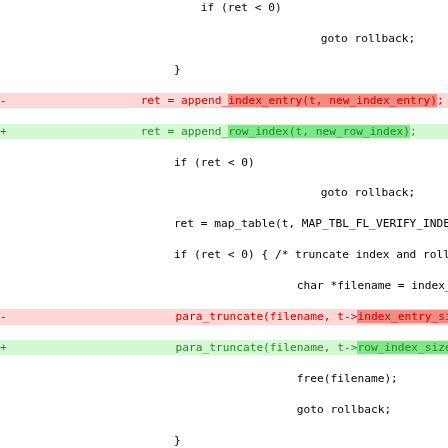[Figure (screenshot): Code diff view showing changes to C source file with deleted lines in red background and added lines in green background, including hunk headers in purple.]